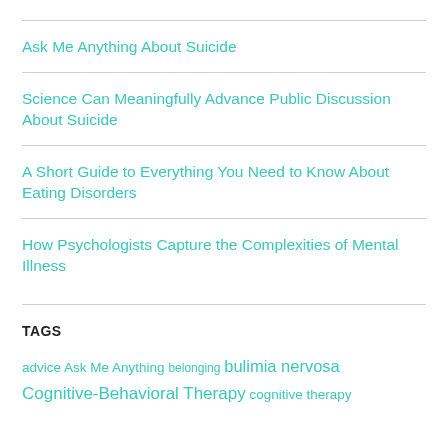Ask Me Anything About Suicide
Science Can Meaningfully Advance Public Discussion About Suicide
A Short Guide to Everything You Need to Know About Eating Disorders
How Psychologists Capture the Complexities of Mental Illness
TAGS
advice Ask Me Anything belonging bulimia nervosa Cognitive-Behavioral Therapy cognitive therapy